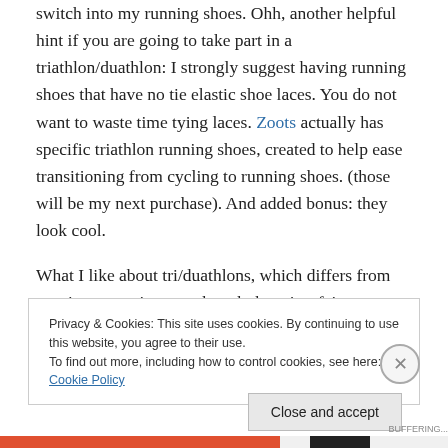switch into my running shoes. Ohh, another helpful hint if you are going to take part in a triathlon/duathlon: I strongly suggest having running shoes that have no tie elastic shoe laces. You do not want to waste time tying laces. Zoots actually has specific triathlon running shoes, created to help ease transitioning from cycling to running shoes. (those will be my next purchase). And added bonus: they look cool.
What I like about tri/duathlons, which differs from running races, is, even though there is a fair amount of competition
Privacy & Cookies: This site uses cookies. By continuing to use this website, you agree to their use. To find out more, including how to control cookies, see here: Cookie Policy